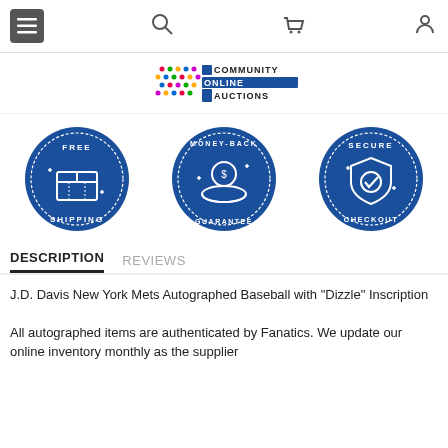Navigation header with menu, search, cart, and user icons
[Figure (logo): Community Online Auctions logo with colorful dot grid pattern and text]
[Figure (infographic): Three circular blue badge icons: Free Shipping (box icon), Money-Back Guarantee (hand with coin icon), Secure Checkout (shield icon)]
DESCRIPTION   REVIEWS
J.D. Davis New York Mets Autographed Baseball with "Dizzle" Inscription
All autographed items are authenticated by Fanatics. We update our online inventory monthly as the supplier